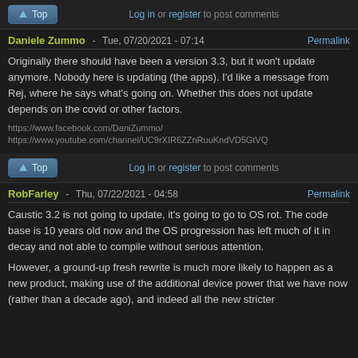↑ Top   Log in or register to post comments
Daniele Zummo - Tue, 07/20/2021 - 07:14   Permalink
Originally there should have been a version 3.3, but it won't update anymore. Nobody here is updating (the apps). I'd like a message from Rej, where he says what's going on. Whether this does not update depends on the covid or other factors.
https://www.facebook.com/DaniZummo/
https://www.youtube.com/channel/UC9rXIR6ZZnRuuKndVD5GtVQ
↑ Top   Log in or register to post comments
RobFarley - Thu, 07/22/2021 - 04:58   Permalink
Caustic 3.2 is not going to update, it's going to go to OS rot. The code base is 10 years old now and the OS progression has left much of it in decay and not able to compile without serious attention.
However, a ground-up fresh rewrite is much more likely to happen as a new product, making use of the additional device power that we have now (rather than a decade ago), and indeed all the new stricter